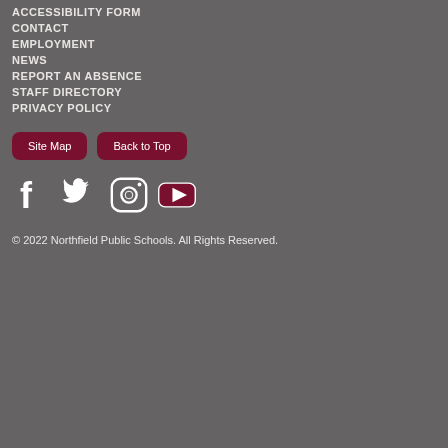ACCESSIBILITY FORM
CONTACT
EMPLOYMENT
NEWS
REPORT AN ABSENCE
STAFF DIRECTORY
PRIVACY POLICY
[Figure (other): Two buttons: Site Map and Back to Top, with dark red rounded rectangle backgrounds]
[Figure (other): Social media icons: Facebook, Twitter, Instagram, YouTube in white on gray background]
© 2022 Northfield Public Schools. All Rights Reserved.